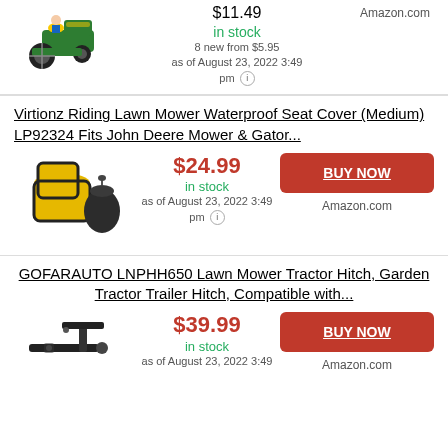[Figure (photo): Green John Deere riding lawn mower toy/model]
$11.49
in stock
8 new from $5.95
as of August 23, 2022 3:49 pm
Amazon.com
Virtionz Riding Lawn Mower Waterproof Seat Cover (Medium) LP92324 Fits John Deere Mower & Gator...
[Figure (photo): Yellow and black lawn mower seat cover with bag]
$24.99
in stock
as of August 23, 2022 3:49 pm
BUY NOW
Amazon.com
GOFARAUTO LNPHH650 Lawn Mower Tractor Hitch, Garden Tractor Trailer Hitch, Compatible with...
[Figure (photo): Black metal lawn mower tractor hitch]
$39.99
in stock
as of August 23, 2022 3:49
BUY NOW
Amazon.com